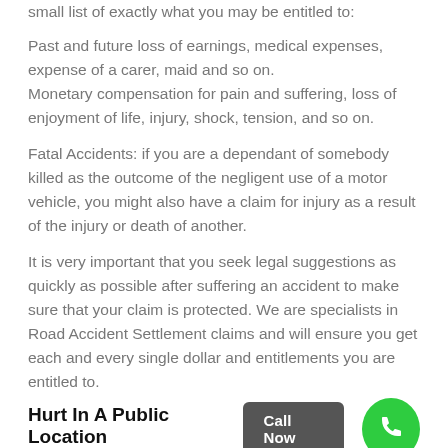Once it is established that you have a claim, below is a small list of exactly what you may be entitled to:
Past and future loss of earnings, medical expenses, expense of a carer, maid and so on.
Monetary compensation for pain and suffering, loss of enjoyment of life, injury, shock, tension, and so on.
Fatal Accidents: if you are a dependant of somebody killed as the outcome of the negligent use of a motor vehicle, you might also have a claim for injury as a result of the injury or death of another.
It is very important that you seek legal suggestions as quickly as possible after suffering an accident to make sure that your claim is protected. We are specialists in Road Accident Settlement claims and will ensure you get each and every single dollar and entitlements you are entitled to.
Hurt In A Public Location
If you have been injured due to a risk on another